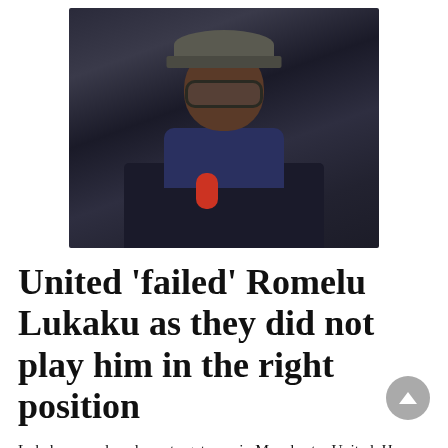[Figure (photo): A man wearing a flat cap and round glasses, dressed in a dark coat with a navy scarf, holding a red microphone, photographed outdoors against a blurred background.]
United 'failed' Romelu Lukaku as they did not play him in the right position
Lukaku was played as a target man in Manchester United. He was mostly alone in the front and had to do